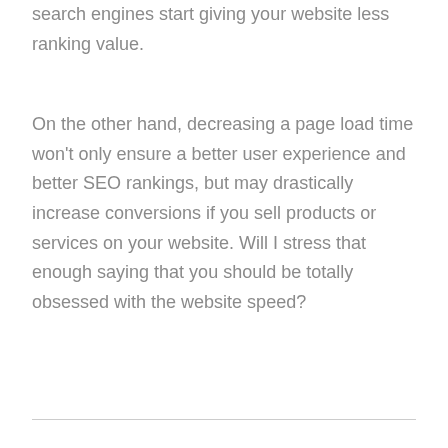search engines start giving your website less ranking value.
On the other hand, decreasing a page load time won't only ensure a better user experience and better SEO rankings, but may drastically increase conversions if you sell products or services on your website. Will I stress that enough saying that you should be totally obsessed with the website speed?